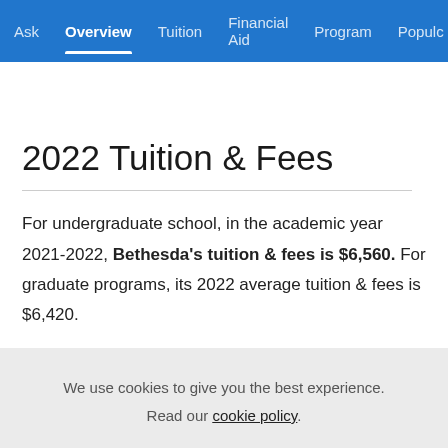Ask  Overview  Tuition  Financial Aid  Program  Populo
2022 Tuition & Fees
For undergraduate school, in the academic year 2021-2022, Bethesda's tuition & fees is $6,560. For graduate programs, its 2022 average tuition & fees is $6,420.
We use cookies to give you the best experience. Read our cookie policy.